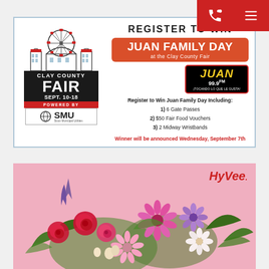[Figure (infographic): Clay County Fair promotional ad: Register to Win Juan Family Day at the Clay County Fair, Sept. 10-18, powered by SMU. Prizes: 6 Gate Passes, $50 Fair Food Vouchers, 2 Midway Wristbands. Winner announced Wednesday September 7th. Radio station Juan 99.9FM ¡Tocando Lo Que Le Gusta!]
[Figure (photo): Hy-Vee flower bouquet advertisement. Pink background with colorful floral arrangement including roses, gerbera daisies, and mixed flowers. Hy-Vee logo in top right corner.]